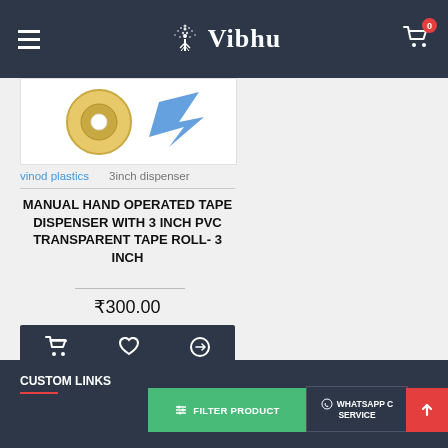Vibhu
[Figure (photo): Product image showing a tape roll and tape dispenser on white background]
vinod plastics    3inch dispenser
MANUAL HAND OPERATED TAPE DISPENSER WITH 3 INCH PVC TRANSPARENT TAPE ROLL- 3 INCH
₹300.00
Buy Now
You have reached the end of the list.
CUSTOM LINKS    FILTER PRODUCTS    WHATSAPP CUSTOMER SERVICE